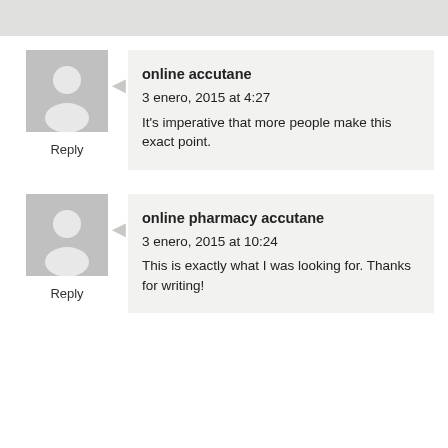[Figure (other): Gray placeholder header bar at the top of the page]
[Figure (illustration): Generic user avatar (gray silhouette of person) for first comment]
Reply
online accutane
3 enero, 2015 at 4:27
It's imperative that more people make this exact point.
[Figure (illustration): Generic user avatar (gray silhouette of person) for second comment]
Reply
online pharmacy accutane
3 enero, 2015 at 10:24
This is exactly what I was looking for. Thanks for writing!